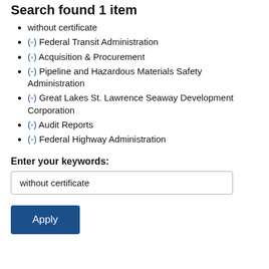Search found 1 item
without certificate
(-) Federal Transit Administration
(-) Acquisition & Procurement
(-) Pipeline and Hazardous Materials Safety Administration
(-) Great Lakes St. Lawrence Seaway Development Corporation
(-) Audit Reports
(-) Federal Highway Administration
Enter your keywords:
without certificate
Apply